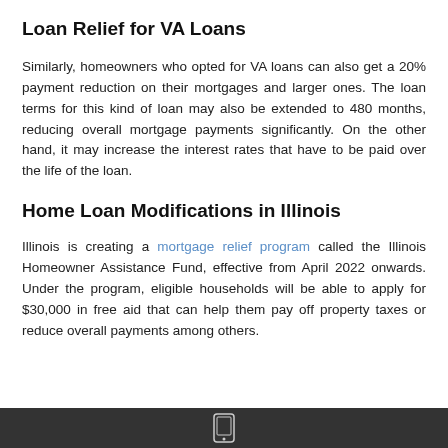Loan Relief for VA Loans
Similarly, homeowners who opted for VA loans can also get a 20% payment reduction on their mortgages and larger ones. The loan terms for this kind of loan may also be extended to 480 months, reducing overall mortgage payments significantly. On the other hand, it may increase the interest rates that have to be paid over the life of the loan.
Home Loan Modifications in Illinois
Illinois is creating a mortgage relief program called the Illinois Homeowner Assistance Fund, effective from April 2022 onwards. Under the program, eligible households will be able to apply for $30,000 in free aid that can help them pay off property taxes or reduce overall payments among others.
[phone icon]